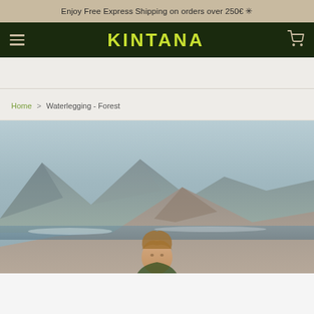Enjoy Free Express Shipping on orders over 250€ ✳
KINTANA
Home > Waterlegging - Forest
[Figure (photo): Outdoor lifestyle photo of a person at a beach with mountains in the background, wearing athletic wear. Product page photo for Waterlegging - Forest.]